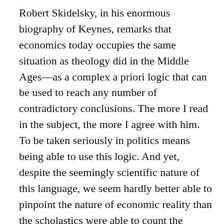Robert Skidelsky, in his enormous biography of Keynes, remarks that economics today occupies the same situation as theology did in the Middle Ages—as a complex a priori logic that can be used to reach any number of contradictory conclusions. The more I read in the subject, the more I agree with him. To be taken seriously in politics means being able to use this logic. And yet, despite the seemingly scientific nature of this language, we seem hardly better able to pinpoint the nature of economic reality than the scholastics were able to count the angels.
I am exaggerating, of course. But I am a little distressed to find that, according to